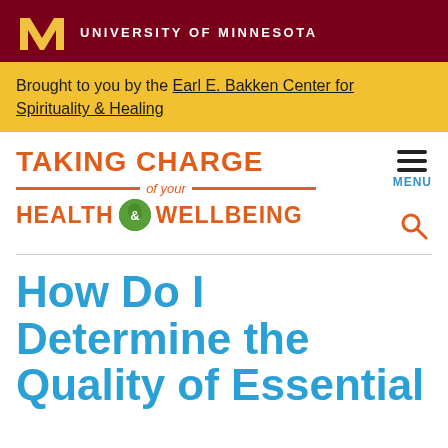University of Minnesota
Brought to you by the Earl E. Bakken Center for Spirituality & Healing
[Figure (logo): Taking Charge of Your Health & Wellbeing logo with orange text and green leaf ampersand icon]
How Do I Determine the Quality of Essential